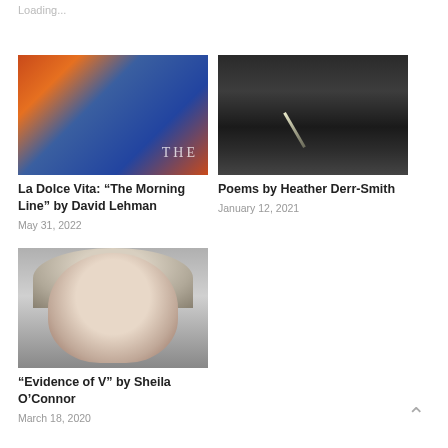Loading...
[Figure (photo): Colorful painting of a seated figure with red and blue tones, with text 'THE' overlaid in bottom right]
La Dolce Vita: “The Morning Line” by David Lehman
May 31, 2022
[Figure (photo): Dark dramatic storm/night sky photograph with a bright diagonal streak of light]
Poems by Heather Derr-Smith
January 12, 2021
[Figure (photo): Black and white portrait photograph of a woman with curly hair]
“Evidence of V” by Sheila O’Connor
March 18, 2020